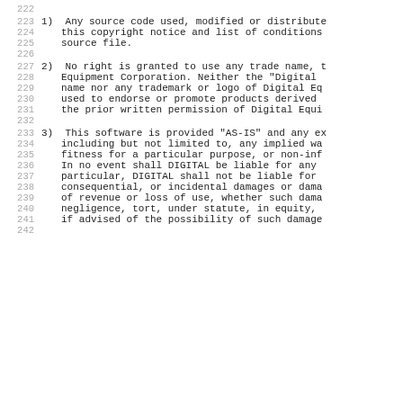1) Any source code used, modified or distributed must retain this copyright notice and list of conditions in each source file.
2) No right is granted to use any trade name, trademark of Equipment Corporation. Neither the "Digital" name nor any trademark or logo of Digital Equipment used to endorse or promote products derived without the prior written permission of Digital Equipment.
3) This software is provided "AS-IS" and any express or implied, including but not limited to, any implied warranties of fitness for a particular purpose, or non-infringement. In no event shall DIGITAL be liable for any damages, in particular, DIGITAL shall not be liable for special, consequential, or incidental damages or damages for loss of revenue or loss of use, whether such damages arise in negligence, tort, under statute, in equity, or otherwise, even if advised of the possibility of such damages.